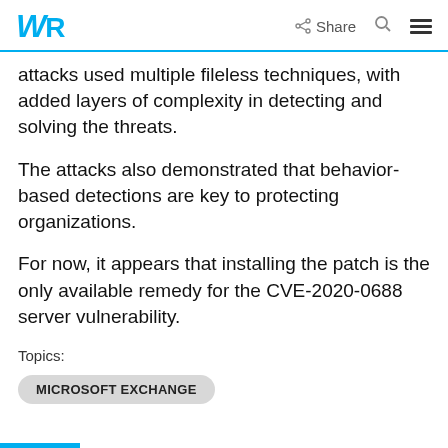WR | Share | [search] | [menu]
attacks used multiple fileless techniques, with added layers of complexity in detecting and solving the threats.
The attacks also demonstrated that behavior-based detections are key to protecting organizations.
For now, it appears that installing the patch is the only available remedy for the CVE-2020-0688 server vulnerability.
Topics:
MICROSOFT EXCHANGE